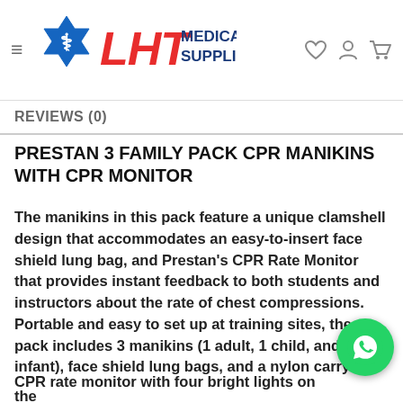LHT MEDICAL SUPPLIES (logo/nav bar)
REVIEWS (0)
PRESTAN 3 FAMILY PACK CPR MANIKINS WITH CPR MONITOR
The manikins in this pack feature a unique clamshell design that accommodates an easy-to-insert face shield lung bag, and Prestan's CPR Rate Monitor that provides instant feedback to both students and instructors about the rate of chest compressions. Portable and easy to set up at training sites, the pack includes 3 manikins (1 adult, 1 child, and 1 infant), face shield lung bags, and a nylon carrying case.
CPR rate monitor with four bright lights on the